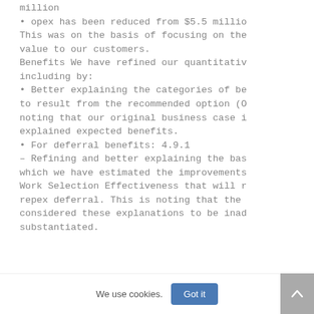million
• opex has been reduced from $5.5 millio This was on the basis of focusing on the value to our customers.
Benefits We have refined our quantitativ including by:
• Better explaining the categories of be to result from the recommended option (O noting that our original business case i explained expected benefits.
• For deferral benefits: 4.9.1
– Refining and better explaining the bas which we have estimated the improvements Work Selection Effectiveness that will r repex deferral. This is noting that the considered these explanations to be inad substantiated.